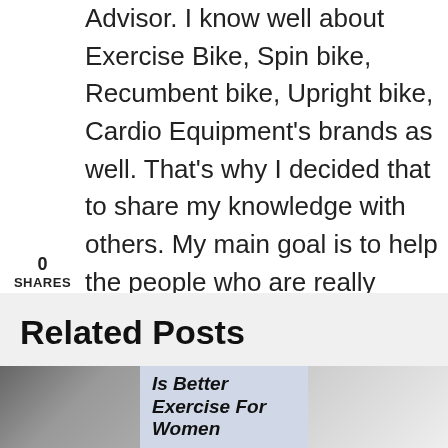Advisor. I know well about Exercise Bike, Spin bike, Recumbent bike, Upright bike, Cardio Equipment's brands as well. That's why I decided that to share my knowledge with others. My main goal is to help the people who are really health conscious and keen to stay fit all the time.
0
SHARES
[Figure (other): Social sharing sidebar with Facebook, Pinterest, Twitter, and LinkedIn buttons]
Related Posts
[Figure (photo): Related post card with image and title 'Is Better Exercise For Women']